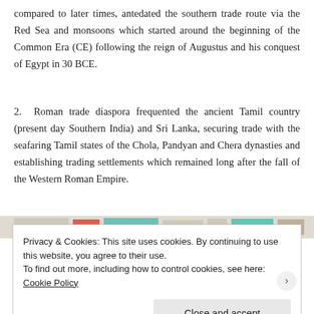compared to later times, antedated the southern trade route via the Red Sea and monsoons which started around the beginning of the Common Era (CE) following the reign of Augustus and his conquest of Egypt in 30 BCE.
2. Roman trade diaspora frequented the ancient Tamil country (present day Southern India) and Sri Lanka, securing trade with the seafaring Tamil states of the Chola, Pandyan and Chera dynasties and establishing trading settlements which remained long after the fall of the Western Roman Empire.
[Figure (photo): Partial image strip visible behind cookie banner]
Privacy & Cookies: This site uses cookies. By continuing to use this website, you agree to their use.
To find out more, including how to control cookies, see here: Cookie Policy
Close and accept